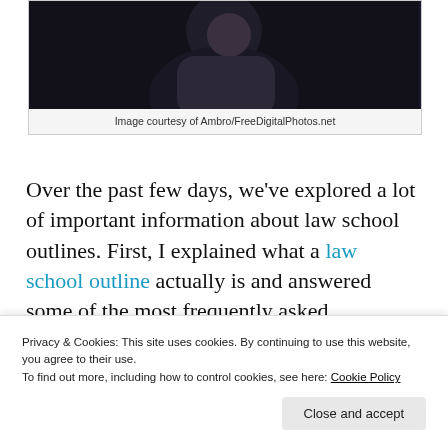[Figure (photo): Dark-toned photograph showing a person against a dark background, partial figure visible]
Image courtesy of Ambro/FreeDigitalPhotos.net
Over the past few days, we’ve explored a lot of important information about law school outlines. First, I explained what a law school outline actually is and answered some of the most frequently asked questions about outlining. Then I addressed the key things to consider as you are creating an outline. Most recently, we talked about different forms that an outline might take, depending on your learning
Privacy & Cookies: This site uses cookies. By continuing to use this website, you agree to their use.
To find out more, including how to control cookies, see here: Cookie Policy
Close and accept